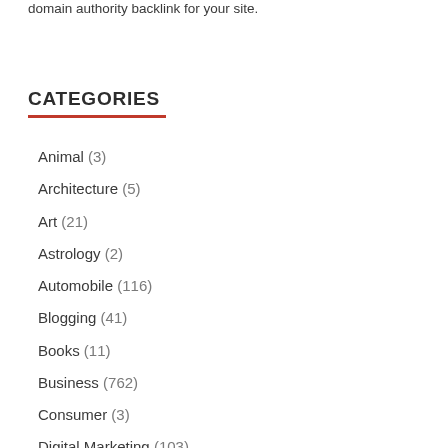domain authority backlink for your site.
CATEGORIES
Animal (3)
Architecture (5)
Art (21)
Astrology (2)
Automobile (116)
Blogging (41)
Books (11)
Business (762)
Consumer (3)
Digital Marketing (103)